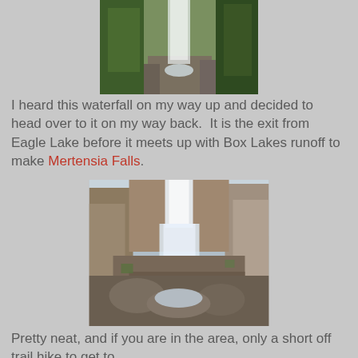[Figure (photo): Top portion of a waterfall stream flowing down through green trees and rocks]
I heard this waterfall on my way up and decided to head over to it on my way back.  It is the exit from Eagle Lake before it meets up with Box Lakes runoff to make Mertensia Falls.
[Figure (photo): Mertensia Falls - a multi-tiered waterfall cascading down rocky cliffs and boulders under a partly cloudy sky]
Pretty neat, and if you are in the area, only a short off trail hike to get to.